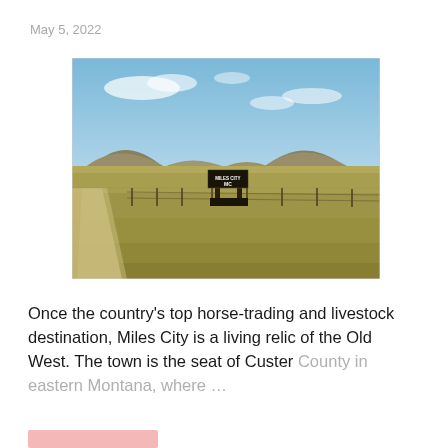May 5, 2022
[Figure (photo): Outdoor landscape photograph showing flat prairie grassland with low hills/buttes in the background under a blue sky with light clouds. In the center of the image is a roadside sign reading 'MILES CITY MC'. A gravel road runs along the left side of the image. A fence line crosses the middle distance.]
Once the country’s top horse-trading and livestock destination, Miles City is a living relic of the Old West. The town is the seat of Custer County in eastern Montana, where …